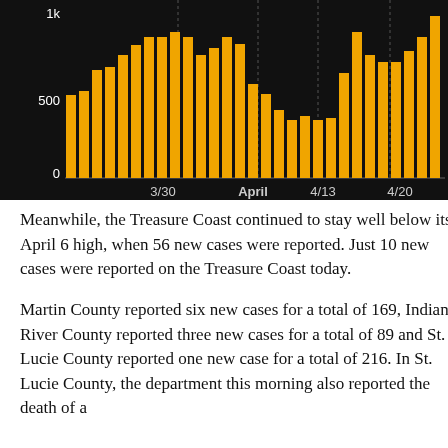[Figure (bar-chart): COVID-19 new cases (Florida region)]
Meanwhile, the Treasure Coast continued to stay well below its April 6 high, when 56 new cases were reported. Just 10 new cases were reported on the Treasure Coast today.
Martin County reported six new cases for a total of 169, Indian River County reported three new cases for a total of 89 and St. Lucie County reported one new case for a total of 216. In St. Lucie County, the department this morning also reported the death of a